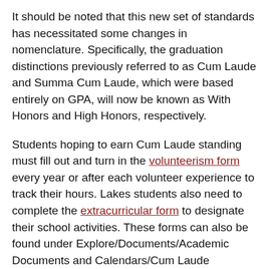It should be noted that this new set of standards has necessitated some changes in nomenclature. Specifically, the graduation distinctions previously referred to as Cum Laude and Summa Cum Laude, which were based entirely on GPA, will now be known as With Honors and High Honors, respectively.
Students hoping to earn Cum Laude standing must fill out and turn in the volunteerism form every year or after each volunteer experience to track their hours. Lakes students also need to complete the extracurricular form to designate their school activities. These forms can also be found under Explore/Documents/Academic Documents and Calendars/Cum Laude Information.
Frequently Asked Questions